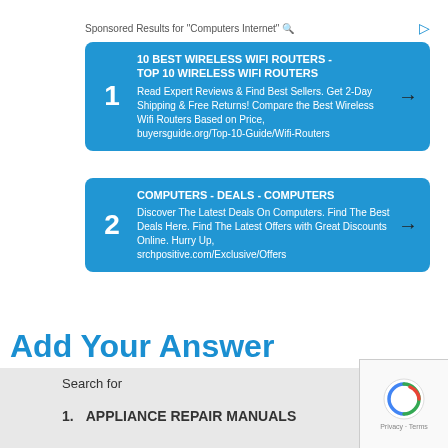Sponsored Results for "Computers Internet"
1 10 BEST WIRELESS WIFI ROUTERS - TOP 10 WIRELESS WIFI ROUTERS Read Expert Reviews & Find Best Sellers. Get 2-Day Shipping & Free Returns! Compare the Best Wireless Wifi Routers Based on Price, buyersguide.org/Top-10-Guide/Wifi-Routers
2 COMPUTERS - DEALS - COMPUTERS Discover The Latest Deals On Computers. Find The Best Deals Here. Find The Latest Offers with Great Discounts Online. Hurry Up, srchpositive.com/Exclusive/Offers
Add Your Answer
Search for 1. APPLIANCE REPAIR MANUALS